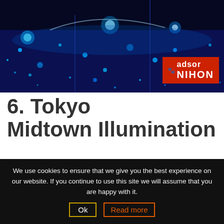[Figure (photo): Aerial view of Tokyo Midtown Illumination event showing a large outdoor space filled with thousands of blue lights and glowing orbs at night, with the Adsor Nihon logo in a red badge at the bottom right.]
6. Tokyo Midtown Illumination
Prior to the global pandemic, these illuminations were a huge multimedia production featuring hundreds of thousands of lights. Due to Covid-19, the illuminations have become more subdued. But we would still
We use cookies to ensure that we give you the best experience on our website. If you continue to use this site we will assume that you are happy with it. Ok  Read more